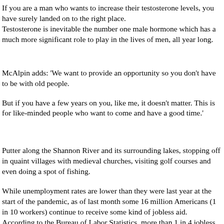If you are a man who wants to increase their testosterone levels, you have surely landed on to the right place.
Testosterone is inevitable the number one male hormone which has a much more significant role to play in the lives of men, all year long.
McAlpin adds: 'We want to provide an opportunity so you don't have to be with old people.
But if you have a few years on you, like me, it doesn't matter. This is for like-minded people who want to come and have a good time.'
Putter along the Shannon River and its surrounding lakes, stopping off in quaint villages with medieval churches, visiting golf courses and even doing a spot of fishing.
While unemployment rates are lower than they were last year at the start of the pandemic, as of last month some 16 million Americans (1 in 10 workers) continue to receive some kind of jobless aid.
According to the Bureau of Labor Statistics, more than 1 in 4 jobless